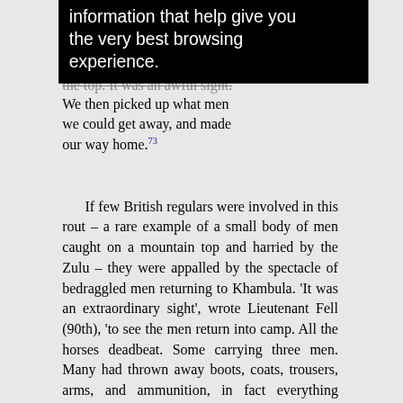information that help give you the very best browsing experience.
the top. It was an awful sight. We then picked up what men we could get away, and made our way home.73
If few British regulars were involved in this rout – a rare example of a small body of men caught on a mountain top and harried by the Zulu – they were appalled by the spectacle of bedraggled men returning to Khambula. 'It was an extraordinary sight', wrote Lieutenant Fell (90th), 'to see the men return into camp. All the horses deadbeat. Some carrying three men. Many had thrown away boots, coats, trousers, arms, and ammunition, in fact everything which could inconvenience them.'74 Even worse were the tales of the